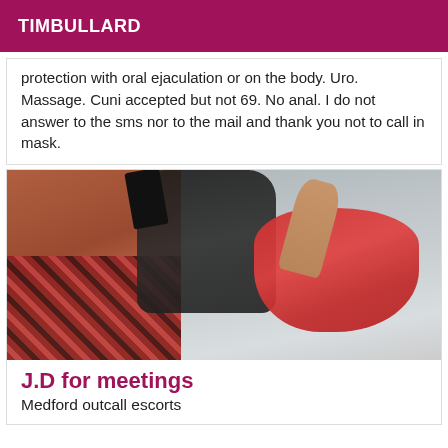TIMBULLARD
protection with oral ejaculation or on the body. Uro. Massage. Cuni accepted but not 69. No anal. I do not answer to the sms nor to the mail and thank you not to call in mask.
[Figure (photo): Photo of a woman in red lingerie lying on a white surface, wearing black high heels and stockings, with a plaid fabric visible on the left side of the image.]
J.D for meetings
Medford outcall escorts